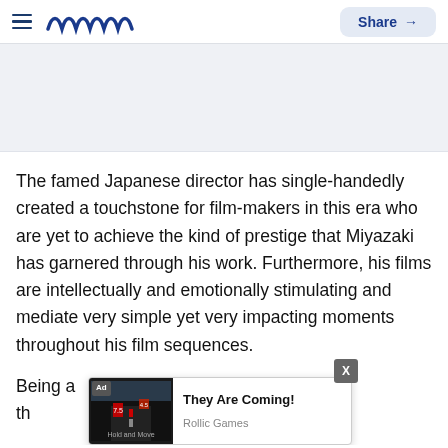meamm — Share
[Figure (other): Grey advertisement placeholder banner area]
The famed Japanese director has single-handedly created a touchstone for film-makers in this era who are yet to achieve the kind of prestige that Miyazaki has garnered through his work. Furthermore, his films are intellectually and emotionally stimulating and mediate very simple yet very impacting moments throughout his film sequences.
Being a...s to th...
[Figure (screenshot): Ad overlay: 'They Are Coming!' by Rollic Games with game screenshot showing road and guitar hero style game]